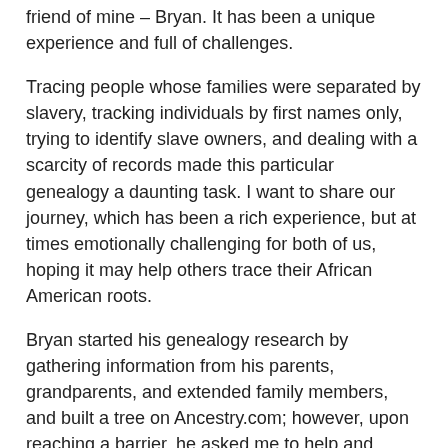friend of mine – Bryan. It has been a unique experience and full of challenges.
Tracing people whose families were separated by slavery, tracking individuals by first names only, trying to identify slave owners, and dealing with a scarcity of records made this particular genealogy a daunting task. I want to share our journey, which has been a rich experience, but at times emotionally challenging for both of us, hoping it may help others trace their African American roots.
Bryan started his genealogy research by gathering information from his parents, grandparents, and extended family members, and built a tree on Ancestry.com; however, upon reaching a barrier, he asked me to help and made me an editor to his tree. Working collaboratively, we found information to build the family tree, which Bryan took to his family to see if it made sense to them. Sometimes we would have to rework a connection, but by and large everything seemed to fit with what the family knew about their heritage.